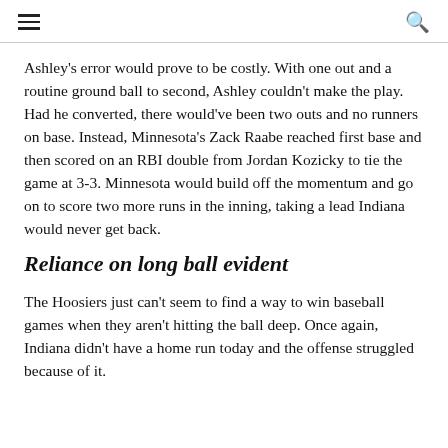☰  🔍
Ashley's error would prove to be costly. With one out and a routine ground ball to second, Ashley couldn't make the play. Had he converted, there would've been two outs and no runners on base. Instead, Minnesota's Zack Raabe reached first base and then scored on an RBI double from Jordan Kozicky to tie the game at 3-3. Minnesota would build off the momentum and go on to score two more runs in the inning, taking a lead Indiana would never get back.
Reliance on long ball evident
The Hoosiers just can't seem to find a way to win baseball games when they aren't hitting the ball deep. Once again, Indiana didn't have a home run today and the offense struggled because of it.